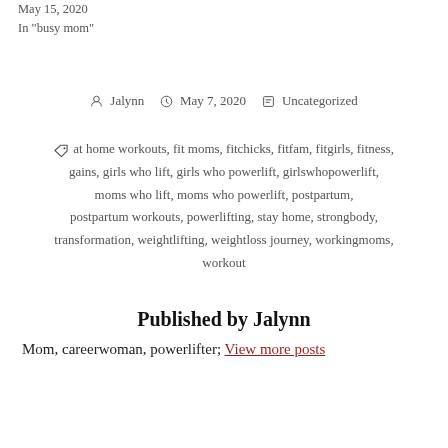May 15, 2020
In "busy mom"
Jalynn  May 7, 2020  Uncategorized
at home workouts, fit moms, fitchicks, fitfam, fitgirls, fitness, gains, girls who lift, girls who powerlift, girlswhopowerlift, moms who lift, moms who powerlift, postpartum, postpartum workouts, powerlifting, stay home, strongbody, transformation, weightlifting, weightloss journey, workingmoms, workout
Published by Jalynn
Mom, careerwoman, powerlifter; View more posts